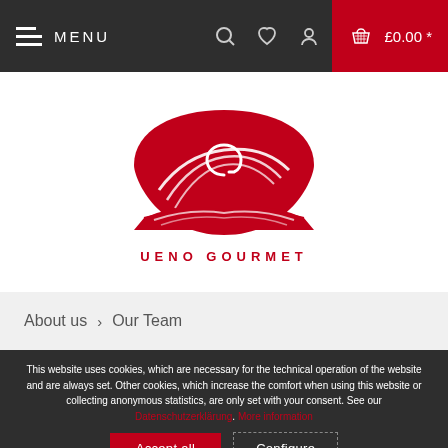MENU £0.00 *
[Figure (logo): Ueno Gourmet logo — red fan-shaped emblem with swirl pattern, text UENO GOURMET below in red spaced capitals]
About us > Our Team
This website uses cookies, which are necessary for the technical operation of the website and are always set. Other cookies, which increase the comfort when using this website or collecting anonymous statistics, are only set with your consent. See our Datenschutzerklärung. More information
Accept all  Configure